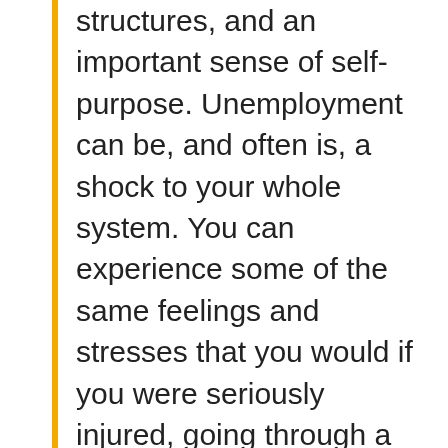structures, and an important sense of self-purpose. Unemployment can be, and often is, a shock to your whole system. You can experience some of the same feelings and stresses that you would if you were seriously injured, going through a divorce, or mourning the loss of a loved one. You can go through some or all of the stages of grieving just as you would with any other major loss.
(Canadian Mental Health Association website,